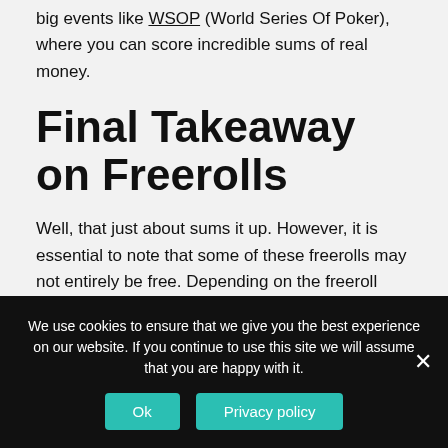big events like WSOP (World Series Of Poker), where you can score incredible sums of real money.
Final Takeaway on Freerolls
Well, that just about sums it up. However, it is essential to note that some of these freerolls may not entirely be free. Depending on the freeroll type, you might encounter specific requirements before you can register to these online poker freerolls. However, we've made our
We use cookies to ensure that we give you the best experience on our website. If you continue to use this site we will assume that you are happy with it.